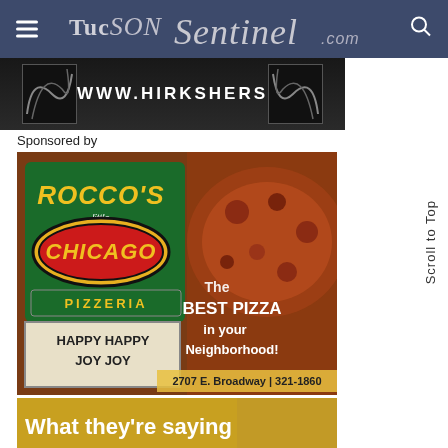TucsonSentinel.com
[Figure (photo): Banner advertisement strip with ornate swirl decorations and text]
Sponsored by
[Figure (photo): Rocco's Little Chicago Pizzeria advertisement. Logo with green and yellow signage. Text: The BEST PIZZA in your Neighborhood! Sign: HAPPY HAPPY JOY JOY. Address: 2707 E. Broadway | 321-1860. Background shows pizza.]
[Figure (photo): Bottom teaser with golden/yellow background and text: What they're saying]
Scroll to Top